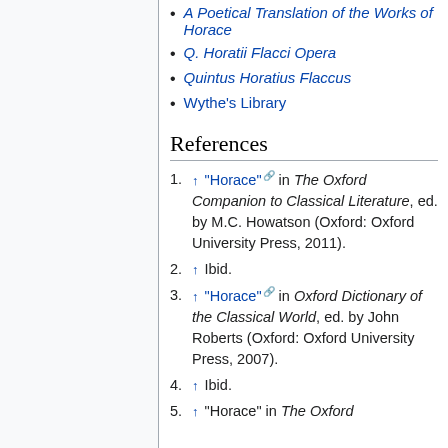A Poetical Translation of the Works of Horace
Q. Horatii Flacci Opera
Quintus Horatius Flaccus
Wythe's Library
References
↑ "Horace" in The Oxford Companion to Classical Literature, ed. by M.C. Howatson (Oxford: Oxford University Press, 2011).
↑ Ibid.
↑ "Horace" in Oxford Dictionary of the Classical World, ed. by John Roberts (Oxford: Oxford University Press, 2007).
↑ Ibid.
↑ "Horace" in The Oxford